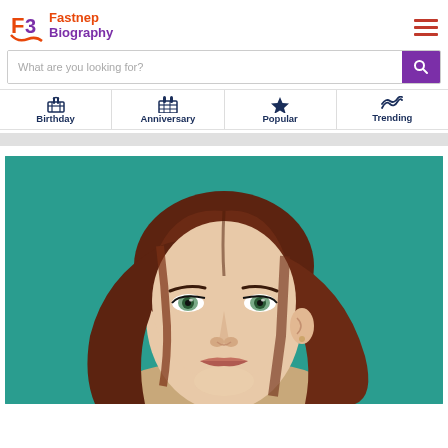Fastnep Biography
What are you looking for?
Birthday
Anniversary
Popular
Trending
[Figure (photo): Portrait photo of a woman with auburn/red hair and light eyes against a teal background]